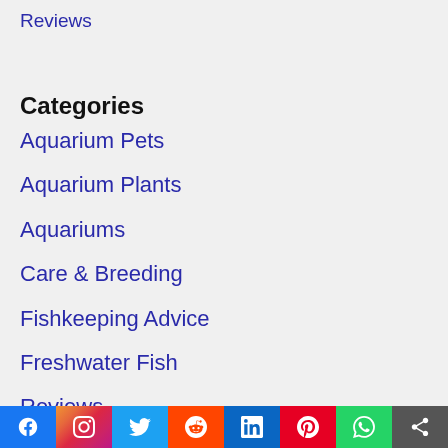Reviews
Categories
Aquarium Pets
Aquarium Plants
Aquariums
Care & Breeding
Fishkeeping Advice
Freshwater Fish
Reviews
Saltwater Fish
[Figure (infographic): Social media sharing bar with icons for Facebook, Instagram, Twitter, Reddit, LinkedIn, Pinterest, WhatsApp, and a share button]